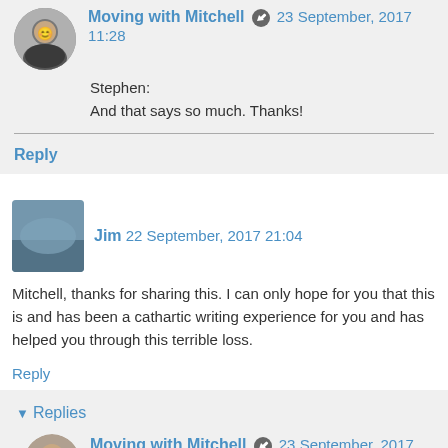Moving with Mitchell 23 September, 2017 11:28
Stephen:
And that says so much. Thanks!
Reply
Jim 22 September, 2017 21:04
Mitchell, thanks for sharing this. I can only hope for you that this is and has been a cathartic writing experience for you and has helped you through this terrible loss.
Reply
Replies
Moving with Mitchell 23 September, 2017 11:30
Jim: